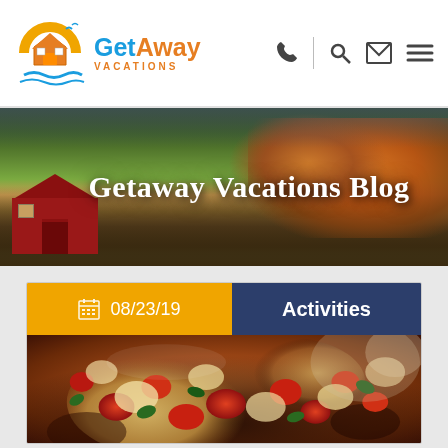[Figure (logo): GetAway Vacations logo with house/sun icon in orange and blue]
[Figure (other): Navigation icons: phone, search, mail, hamburger menu]
[Figure (photo): Hero banner photo of a red barn in autumn foliage landscape with text overlay 'Getaway Vacations Blog']
Getaway Vacations Blog
08/23/19
Activities
[Figure (photo): Close-up photo of pizza with tomatoes, mozzarella cheese, and basil toppings]